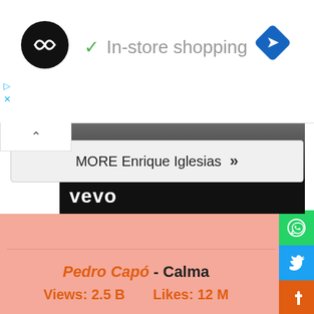[Figure (screenshot): Ad banner with circular logo, checkmark, 'In-store shopping' text, and blue diamond navigation icon on the right]
[Figure (screenshot): Vevo video thumbnail with dark background and Vevo logo watermark]
MORE Enrique Iglesias >>
Pedro Capó - Calma
Views: 2.5 B    Likes: 12 M